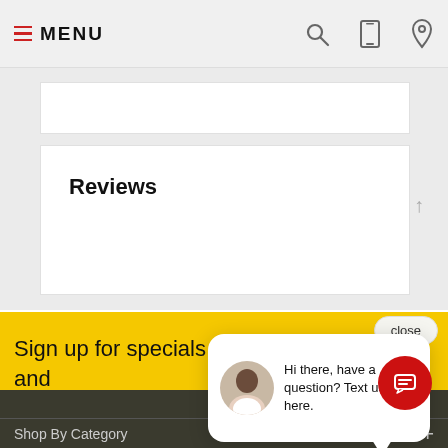MENU
Reviews
Sign up for specials, offers and more!
SUBSCRIBE
close
Hi there, have a question? Text us here.
Shop By Category